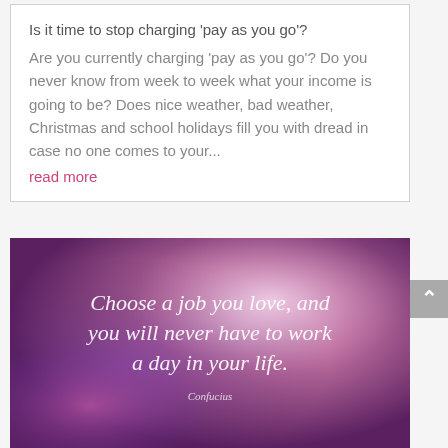Is it time to stop charging 'pay as you go'?
Are you currently charging 'pay as you go'? Do you never know from week to week what your income is going to be? Does nice weather, bad weather, Christmas and school holidays fill you with dread in case no one comes to your...
read more
[Figure (illustration): Blurred purple/pink bokeh background image with white text reading: 'Choose a job you love, and you will never have to work a day in your life.' with 'Confucius' attribution below.]